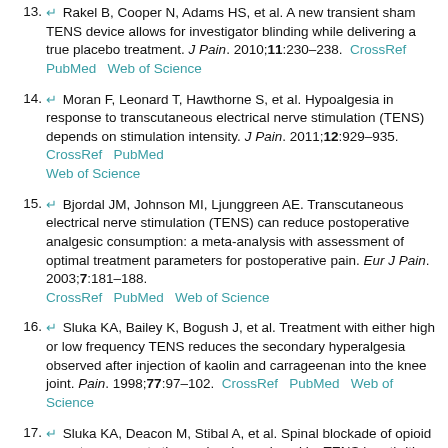13. ↵ Rakel B, Cooper N, Adams HS, et al. A new transient sham TENS device allows for investigator blinding while delivering a true placebo treatment. J Pain. 2010;11:230–238. CrossRef PubMed Web of Science
14. ↵ Moran F, Leonard T, Hawthorne S, et al. Hypoalgesia in response to transcutaneous electrical nerve stimulation (TENS) depends on stimulation intensity. J Pain. 2011;12:929–935. CrossRef PubMed Web of Science
15. ↵ Bjordal JM, Johnson MI, Ljunggreen AE. Transcutaneous electrical nerve stimulation (TENS) can reduce postoperative analgesic consumption: a meta-analysis with assessment of optimal treatment parameters for postoperative pain. Eur J Pain. 2003;7:181–188. CrossRef PubMed Web of Science
16. ↵ Sluka KA, Bailey K, Bogush J, et al. Treatment with either high or low frequency TENS reduces the secondary hyperalgesia observed after injection of kaolin and carrageenan into the knee joint. Pain. 1998;77:97–102. CrossRef PubMed Web of Science
17. ↵ Sluka KA, Deacon M, Stibal A, et al. Spinal blockade of opioid receptors prevents the analgesia produced by TENS in arthritic rats. J Pharmacol Exp Ther. 1999;289:840–846. Abstract/FREE Full Text